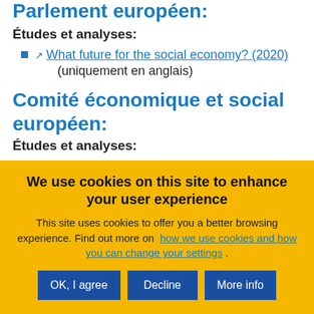Parlement européen:
Études et analyses:
What future for the social economy? (2020) (uniquement en anglais)
Comité économique et social européen:
Études et analyses:
We use cookies on this site to enhance your user experience
This site uses cookies to offer you a better browsing experience. Find out more on how we use cookies and how you can change your settings.
OK, I agree | Decline | More info